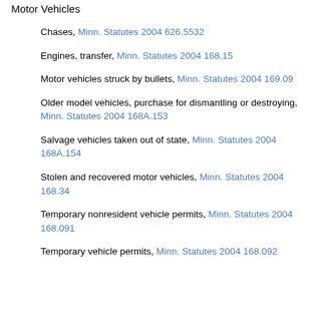Motor Vehicles
Chases, Minn. Statutes 2004 626.5532
Engines, transfer, Minn. Statutes 2004 168.15
Motor vehicles struck by bullets, Minn. Statutes 2004 169.09
Older model vehicles, purchase for dismantling or destroying, Minn. Statutes 2004 168A.153
Salvage vehicles taken out of state, Minn. Statutes 2004 168A.154
Stolen and recovered motor vehicles, Minn. Statutes 2004 168.34
Temporary nonresident vehicle permits, Minn. Statutes 2004 168.091
Temporary vehicle permits, Minn. Statutes 2004 168.092